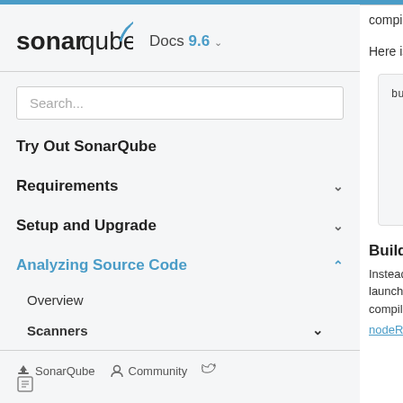[Figure (logo): SonarQube logo with sonar wave icon]
Docs 9.6
Search...
Try Out SonarQube
Requirements
Setup and Upgrade
Analyzing Source Code
Overview
Scanners
SonarQube   Community
compilation
Here is an ex
build-wrap
  --batch
  build
  --spawn_
  --strate
  --bazelr
  //main:h
Building w
Instead of st launched bu compiled on
nodeReuse:F